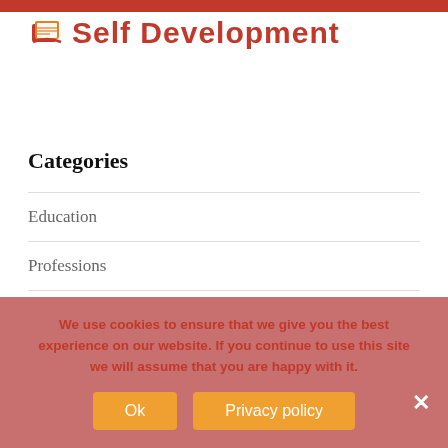[Figure (logo): Self Development logo with a book icon and orange-red bold text reading 'Self Development']
Categories
Education
Professions
Science
Tips
We use cookies to ensure that we give you the best experience on our website. If you continue to use this site we will assume that you are happy with it.